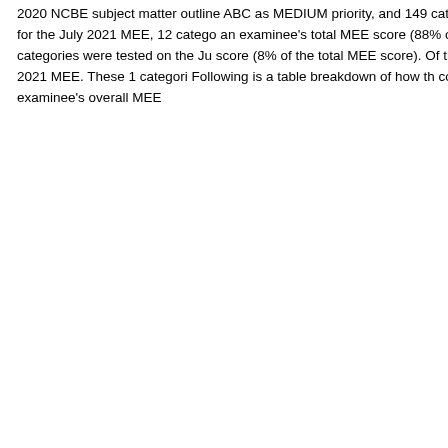2020 NCBE subject matter outline ABC as MEDIUM priority, and 149 categories priority for the July 2021 MEE, 12 categories an examinee's total MEE score (88% of MEE, 1 categories were tested on the Ju score (8% of the total MEE score). Of the on the July 2021 MEE. These 1 categori Following is a table breakdown of how th contributed to an examinee's overall MEE
| Category |
| --- |
| CivPro: Cat I: Jurisdiction (A. Federal SM… |
| CivPro: Cat III: Pretrial Proc (B. Pleadings… |
| Conflict: Cat III: Choice of Law (C. Applica… |
| CorpLLC: Cat V: Mgmt & Control (A. Shar… |
| CorpLLC: Cat VIII: Corp & LLC Structure (… |
| CrimLaw: Cat V: Const Protections of Ds … |
| CrimLaw: Cat V: Const Protections of Ds … |
| Family: Cat III: Separation/Divorce (B. Ju… |